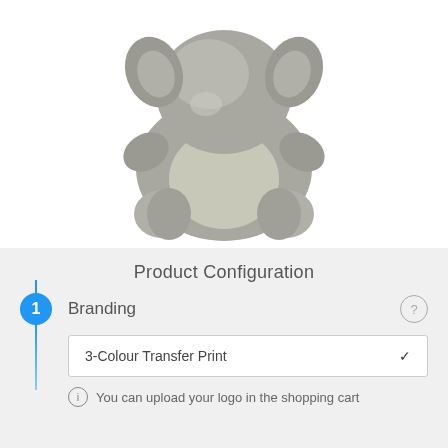[Figure (photo): A gray fluffy stuffed animal toy (elephant or similar plush) sitting upright on a white background, photographed from slightly above. The toy has rounded ears, stubby limbs, and a lighter gray belly area.]
Product Configuration
Branding
3-Colour Transfer Print
You can upload your logo in the shopping cart